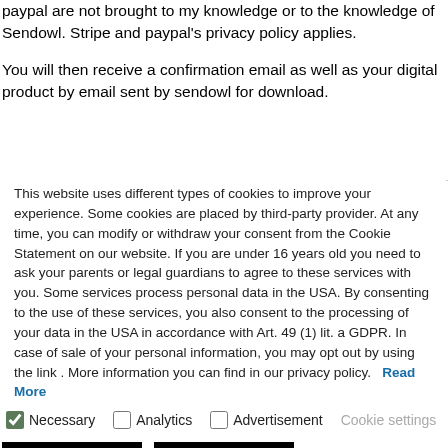paypal are not brought to my knowledge or to the knowledge of Sendowl. Stripe and paypal's privacy policy applies.

You will then receive a confirmation email as well as your digital product by email sent by sendowl for download.
This website uses different types of cookies to improve your experience. Some cookies are placed by third-party provider. At any time, you can modify or withdraw your consent from the Cookie Statement on our website. If you are under 16 years old you need to ask your parents or legal guardians to agree to these services with you. Some services process personal data in the USA. By consenting to the use of these services, you also consent to the processing of your data in the USA in accordance with Art. 49 (1) lit. a GDPR. In case of sale of your personal information, you may opt out by using the link . More information you can find in our privacy policy. Read More